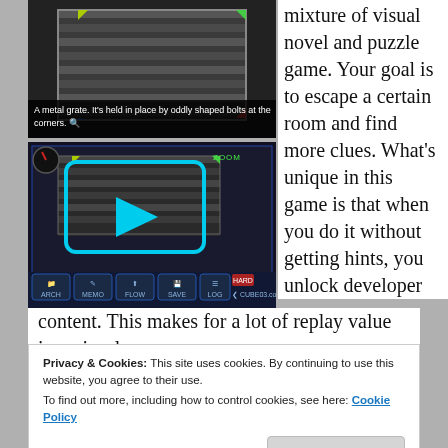[Figure (screenshot): Top screenshot of a dark metal grate puzzle game scene with colored corner markers]
A metal grate. It's held in place by oddly shaped bolts at the corners. 🔍
[Figure (screenshot): Video thumbnail of the same game scene with zoom interface, playback controls (ARCH, MEMO, FLOW, SAVE, LOG), play button, and CUBE03.com watermark]
mixture of visual novel and puzzle game. Your goal is to escape a certain room and find more clues. What's unique in this game is that when you do it without getting hints, you unlock developer content. This makes for a lot of replay value in a visual
Privacy & Cookies: This site uses cookies. By continuing to use this website, you agree to their use.
To find out more, including how to control cookies, see here: Cookie Policy
their unique expressions and makes the story even more
Close and accept